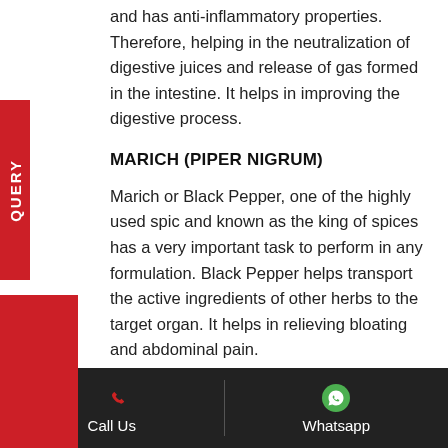and has anti-inflammatory properties. Therefore, helping in the neutralization of digestive juices and release of gas formed in the intestine. It helps in improving the digestive process.
MARICH (PIPER NIGRUM)
Marich or Black Pepper, one of the highly used spic and known as the king of spices has a very important task to perform in any formulation. Black Pepper helps transport the active ingredients of other herbs to the target organ. It helps in relieving bloating and abdominal pain.
HING (FERULA ASSAFOETIDA)
Call Us   Whatsapp